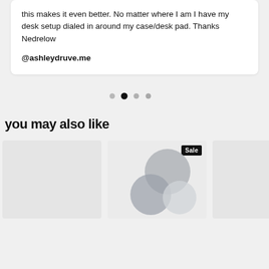this makes it even better. No matter where I am I have my desk setup dialed in around my case/desk pad. Thanks Nedrelow
@ashleydruve.me
[Figure (infographic): Carousel navigation dots: four dots, second one filled/active (black), others gray]
you may also like
[Figure (photo): Product card 1: light gray placeholder product image]
[Figure (photo): Product card 2 with Sale badge: shows circular disk-like product items in gray tones on light background]
[Figure (photo): Product card 3 (partially visible): light gray placeholder product image]